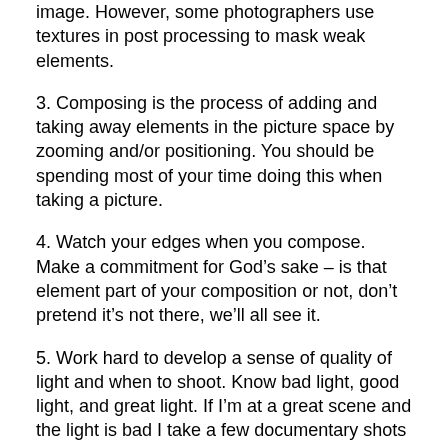image. However, some photographers use textures in post processing to mask weak elements.
3. Composing is the process of adding and taking away elements in the picture space by zooming and/or positioning. You should be spending most of your time doing this when taking a picture.
4. Watch your edges when you compose. Make a commitment for God’s sake – is that element part of your composition or not, don’t pretend it’s not there, we’ll all see it.
5. Work hard to develop a sense of quality of light and when to shoot. Know bad light, good light, and great light. If I’m at a great scene and the light is bad I take a few documentary shots and move on.
6. Even if you have not been bitten by the HDR bug take bracketed image sets. There is a good chance the 0EV will not be your favorite or you can blend several shots together. More images equals more options as your style evolves.